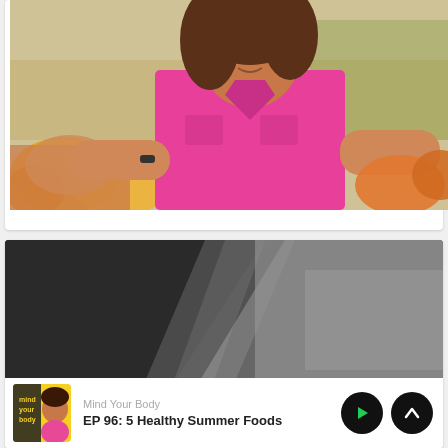[Figure (photo): Woman in pink shirt shopping for produce in a grocery store, reaching toward colorful fruits and vegetables]
[Figure (photo): Blurred dark background image, appears to show a surface with diagonal light reflection, podcast episode thumbnail]
Mind Your Body
EP 96: 5 Healthy Summer Foods